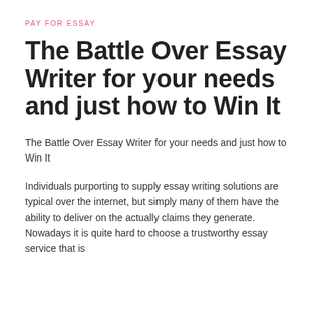PAY FOR ESSAY
The Battle Over Essay Writer for your needs and just how to Win It
The Battle Over Essay Writer for your needs and just how to Win It
Individuals purporting to supply essay writing solutions are typical over the internet, but simply many of them have the ability to deliver on the actually claims they generate. Nowadays it is quite hard to choose a trustworthy essay service that is